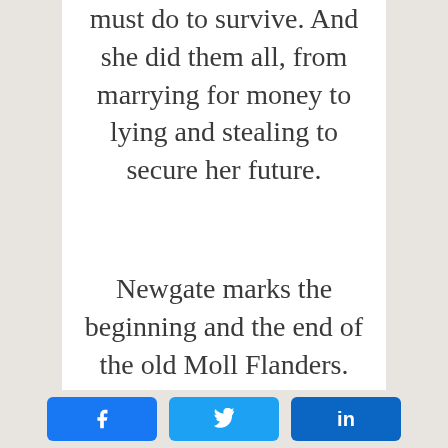must do to survive. And she did them all, from marrying for money to lying and stealing to secure her future.
Newgate marks the beginning and the end of the old Moll Flanders. After her adventures, she
[Figure (other): Social sharing buttons: Facebook (blue), Twitter (light blue), LinkedIn (dark blue)]